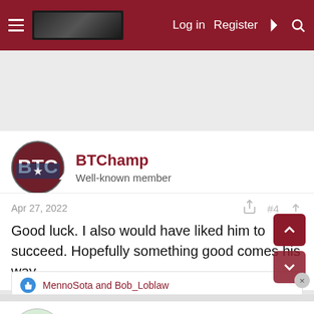Log in  Register
[Figure (screenshot): Advertisement banner area (gray background)]
BTChamp
Well-known member
Apr 27, 2022   #4
Good luck. I also would have liked him to succeed. Hopefully something good comes his way.
MennoSota and Bob_Loblaw
skyman31
Well-known member